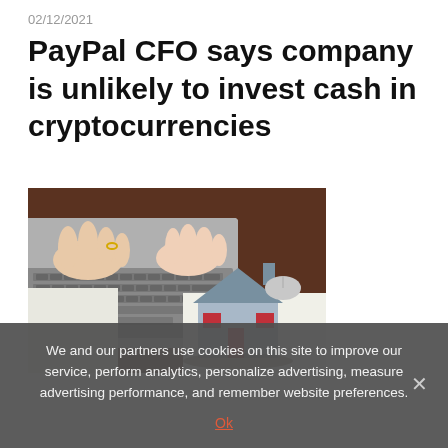02/12/2021
PayPal CFO says company is unlikely to invest cash in cryptocurrencies
[Figure (photo): Person's hands typing on a laptop keyboard with a miniature house model in the foreground on a wooden desk.]
We and our partners use cookies on this site to improve our service, perform analytics, personalize advertising, measure advertising performance, and remember website preferences.
Ok